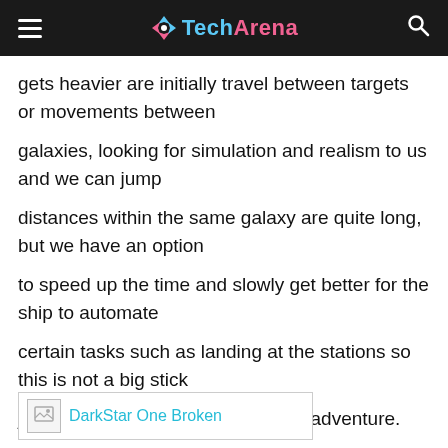TechArena
gets heavier are initially travel between targets or movements between
galaxies, looking for simulation and realism to us and we can jump
distances within the same galaxy are quite long, but we have an option
to speed up the time and slowly get better for the ship to automate
certain tasks such as landing at the stations so this is not a big stick
just in case the early stages of the adventure.
[Figure (other): Advertisement banner with image placeholder and text 'DarkStar One Broken']